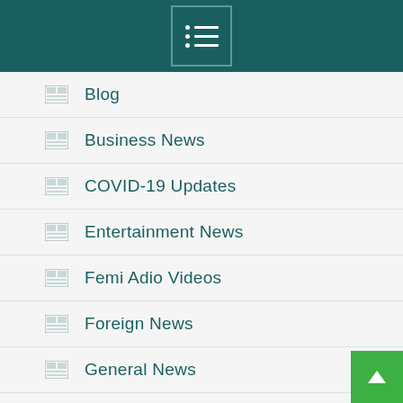Navigation menu header with hamburger/list icon
Blog
Business News
COVID-19 Updates
Entertainment News
Femi Adio Videos
Foreign News
General News
Health
IMS
Islamic Songs
Latest Yoruba Film Movies 2020
Metro